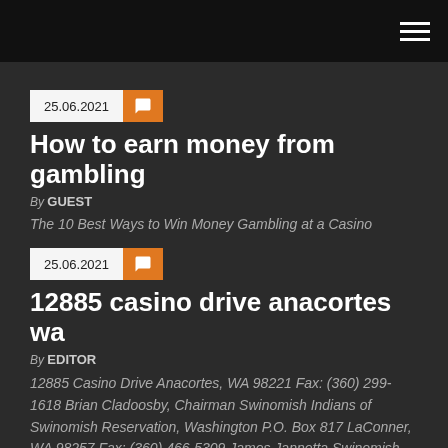25.06.2021
How to earn money from gambling
By GUEST
The 10 Best Ways to Win Money Gambling at a Casino
25.06.2021
12885 casino drive anacortes wa
By EDITOR
12885 Casino Drive Anacortes, WA 98221 Fax: (360) 299-1618 Brian Cladoosby, Chairman Swinomish Indians of Swinomish Reservation, Washington P.O. Box 817 LaConner, WA 98257 Fax: (360) 466-5309 James Jannetta Swinomish